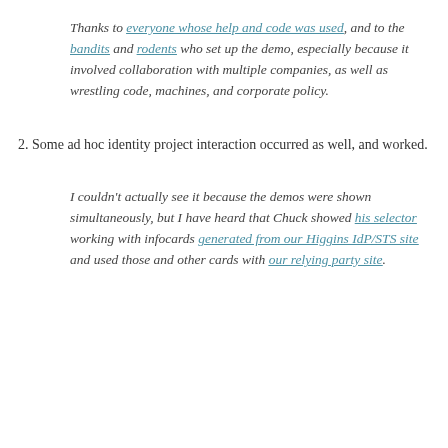Thanks to everyone whose help and code was used, and to the bandits and rodents who set up the demo, especially because it involved collaboration with multiple companies, as well as wrestling code, machines, and corporate policy.
2. Some ad hoc identity project interaction occurred as well, and worked.
I couldn't actually see it because the demos were shown simultaneously, but I have heard that Chuck showed his selector working with infocards generated from our Higgins IdP/STS site and used those and other cards with our relying party site.